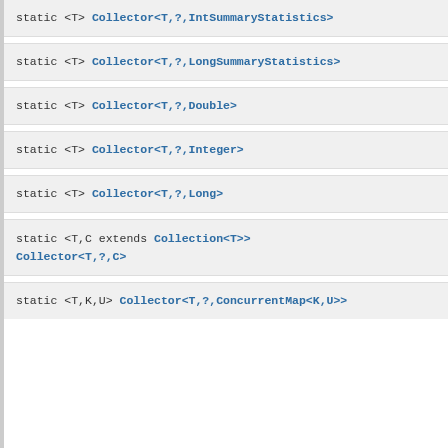static <T> Collector<T,?,IntSummaryStatistics>
static <T> Collector<T,?,LongSummaryStatistics>
static <T> Collector<T,?,Double>
static <T> Collector<T,?,Integer>
static <T> Collector<T,?,Long>
static <T,C extends Collection<T>> Collector<T,?,C>
static <T,K,U> Collector<T,?,ConcurrentMap<K,U>>